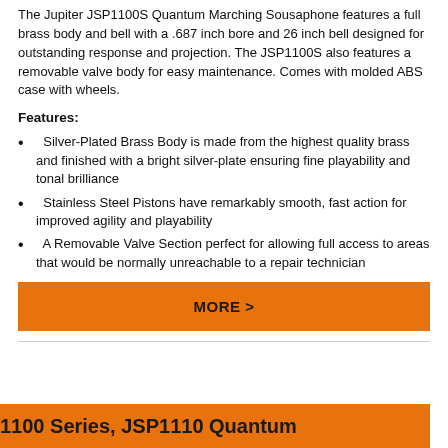The Jupiter JSP1100S Quantum Marching Sousaphone features a full brass body and bell with a .687 inch bore and 26 inch bell designed for outstanding response and projection. The JSP1100S also features a removable valve body for easy maintenance. Comes with molded ABS case with wheels.
Features:
Silver-Plated Brass Body is made from the highest quality brass and finished with a bright silver-plate ensuring fine playability and tonal brilliance
Stainless Steel Pistons have remarkably smooth, fast action for improved agility and playability
A Removable Valve Section perfect for allowing full access to areas that would be normally unreachable to a repair technician
MORE >
1100 Series, JSP1110 Quantum